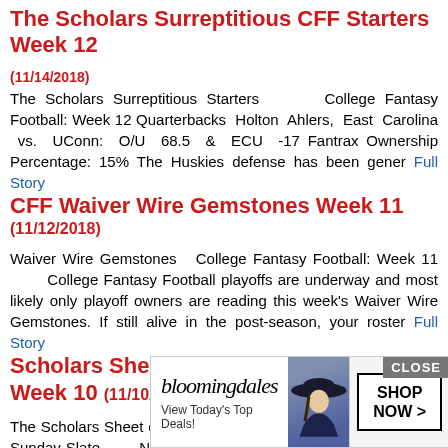The Scholars Surreptitious CFF Starters Week 12
(11/14/2018)
The Scholars Surreptitious Starters      College Fantasy Football: Week 12 Quarterbacks  Holton  Ahlers,  East  Carolina  vs.  UConn:  O/U  68.5  &  ECU  -17 Fantrax Ownership Percentage: 15% The Huskies defense has been gener Full Story
CFF Waiver Wire Gemstones Week 11 (11/12/2018)
Waiver Wire Gemstones   College Fantasy Football: Week 11         College Fantasy Football playoffs are underway and most likely only playoff owners are reading this week's Waiver Wire Gemstones. If still alive in the post-season, your roster Full Story
Scholars Sheet of DraftKings Knowledge Week 10 (11/10/2018)
The Scholars Sheet of DraftKings Knowledge     DraftKings NFL Sunday Slate         November 11, 2018       Top Games to Target Saints at Bengals: O/U 54 Redskins at Buccaneers: O/U 51 F Full Story
The Scholars Surreptitious CFF Starters Week 11
(11/7/2018)
The Scho... College Fantasy Foo...k 11 Quarterba...exas A&M -11.5 Fan...o lineups
[Figure (other): Bloomingdale's advertisement overlay with model in hat, CLOSE button, View Today's Top Deals! text, and SHOP NOW button]